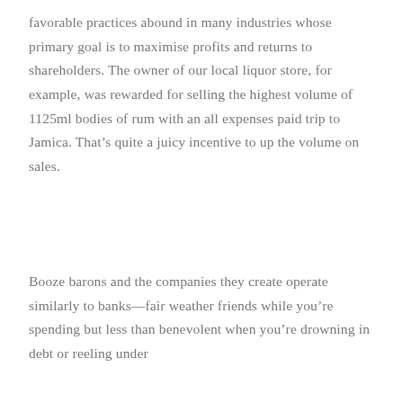favorable practices abound in many industries whose primary goal is to maximise profits and returns to shareholders. The owner of our local liquor store, for example, was rewarded for selling the highest volume of 1125ml bodies of rum with an all expenses paid trip to Jamica. That's quite a juicy incentive to up the volume on sales.
Booze barons and the companies they create operate similarly to banks—fair weather friends while you're spending but less than benevolent when you're drowning in debt or reeling under